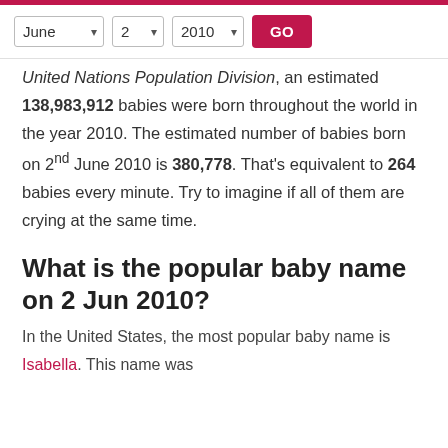Controls: June, 2, 2010, GO
United Nations Population Division, an estimated 138,983,912 babies were born throughout the world in the year 2010. The estimated number of babies born on 2nd June 2010 is 380,778. That's equivalent to 264 babies every minute. Try to imagine if all of them are crying at the same time.
What is the popular baby name on 2 Jun 2010?
In the United States, the most popular baby name is Isabella. This name was